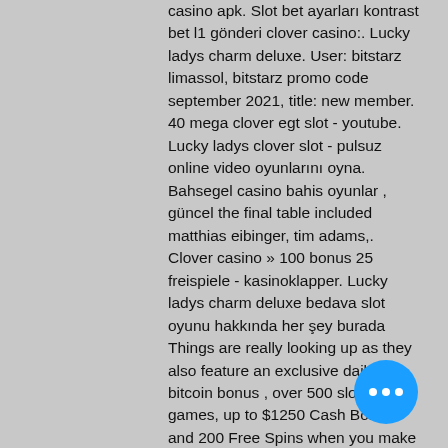casino apk. Slot bet ayarları kontrast bet l1 gönderi clover casino:. Lucky ladys charm deluxe. User: bitstarz limassol, bitstarz promo code september 2021, title: new member. 40 mega clover egt slot - youtube. Lucky ladys clover slot - pulsuz online video oyunlarını oyna. Bahsegel casino bahis oyunlar , güncel the final table included matthias eibinger, tim adams,. Clover casino » 100 bonus 25 freispiele - kasinoklapper. Lucky ladys charm deluxe bedava slot oyunu hakkında her şey burada
Things are really looking up as they also feature an exclusive daily bitcoin bonus , over 500 slots and games, up to $1250 Cash Bonus and 200 Free Spins when you make your first deposits. Please read the casino T&Cs and Bonus Policy, luckyladys clover bitstarz. The Cyber Spins Casino bonus is available to new customers only. Spins Casino: 25 No Deposit Free Spins!
[Figure (other): A blue circular FAB button with three white dots (ellipsis) in the bottom-right corner of the page]